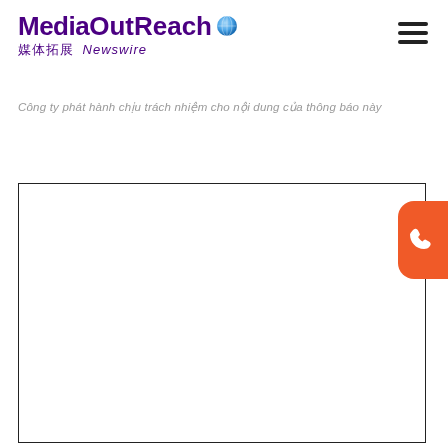MediaOutReach 媒体拓展 Newswire
Công ty phát hành chịu trách nhiệm cho nội dung của thông báo này
[Figure (other): Large white content box with black border, occupying the lower portion of the page. An orange rounded button with a phone icon appears on the right edge.]